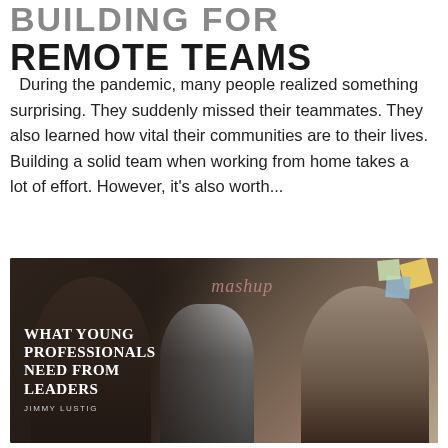BUILDING FOR REMOTE TEAMS
During the pandemic, many people realized something surprising. They suddenly missed their teammates. They also learned how vital their communities are to their lives. Building a solid team when working from home takes a lot of effort. However, it's also worth...
[Figure (photo): A promotional image with three young professionals in an office/event setting. White serif text on the left reads 'WHAT YOUNG PROFESSIONALS NEED FROM LEADERS' with author credit 'JIMMY LUSTIG' below. A mashup logo appears in the upper center area. Sticky notes are visible in the upper right.]